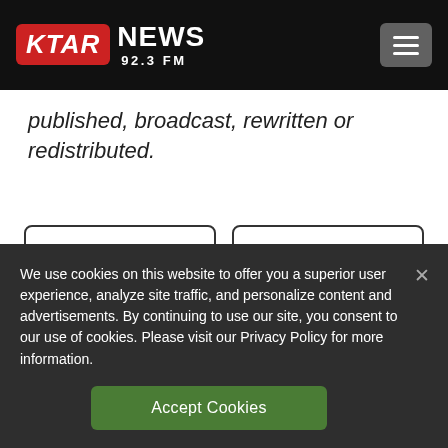KTAR NEWS 92.3 FM
published, broadcast, rewritten or redistributed.
Comments   Share
We use cookies on this website to offer you a superior user experience, analyze site traffic, and personalize content and advertisements. By continuing to use our site, you consent to our use of cookies. Please visit our Privacy Policy for more information.
Accept Cookies